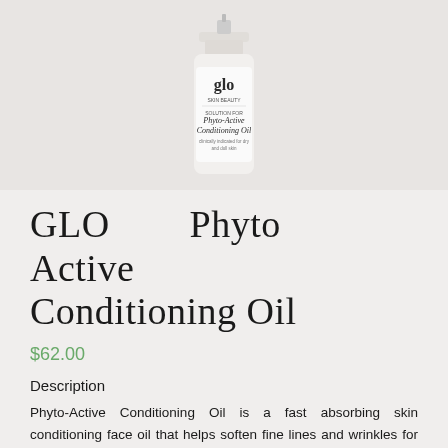[Figure (photo): Product bottle of GLO Phyto-Active Conditioning Oil, white cylindrical bottle with logo and label text]
GLO Phyto Active Conditioning Oil
$62.00
Description
Phyto-Active Conditioning Oil is a fast absorbing skin conditioning face oil that helps soften fine lines and wrinkles for those with aging skin concerns. This premium facial oil features protective plant stem cell technology that delivers your softest, most radiant skin yet.
See Results in 60 Days or Less:
• Featuring The Powerful Ingredient Resistem